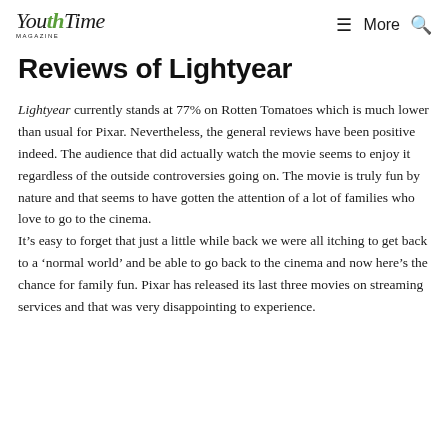YouthTime Magazine | More | Search
Reviews of Lightyear
Lightyear currently stands at 77% on Rotten Tomatoes which is much lower than usual for Pixar. Nevertheless, the general reviews have been positive indeed. The audience that did actually watch the movie seems to enjoy it regardless of the outside controversies going on. The movie is truly fun by nature and that seems to have gotten the attention of a lot of families who love to go to the cinema.
It’s easy to forget that just a little while back we were all itching to get back to a ‘normal world’ and be able to go back to the cinema and now here’s the chance for family fun. Pixar has released its last three movies on streaming services and that was very disappointing to experience.